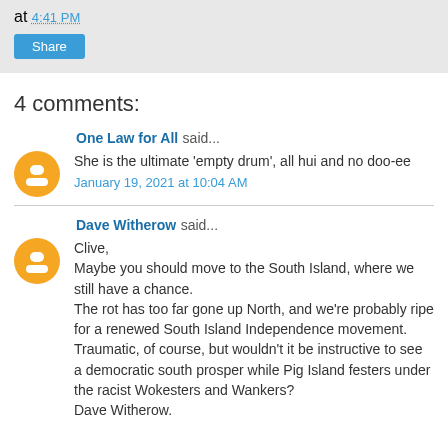at 4:41 PM
Share
4 comments:
One Law for All said...
She is the ultimate 'empty drum', all hui and no doo-ee
January 19, 2021 at 10:04 AM
Dave Witherow said...
Clive,
Maybe you should move to the South Island, where we still have a chance.
The rot has too far gone up North, and we're probably ripe for a renewed South Island Independence movement. Traumatic, of course, but wouldn't it be instructive to see a democratic south prosper while Pig Island festers under the racist Wokesters and Wankers?
Dave Witherow.